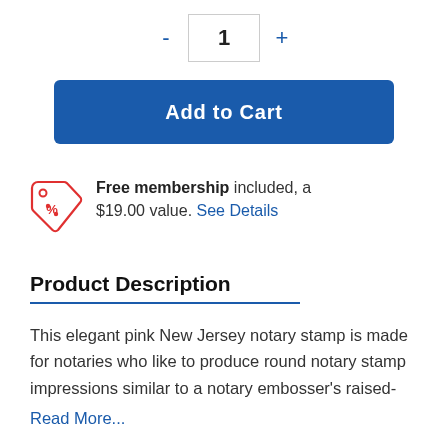- 1 +
Add to Cart
Free membership included, a $19.00 value. See Details
Product Description
This elegant pink New Jersey notary stamp is made for notaries who like to produce round notary stamp impressions similar to a notary embosser's raised-
Read More...